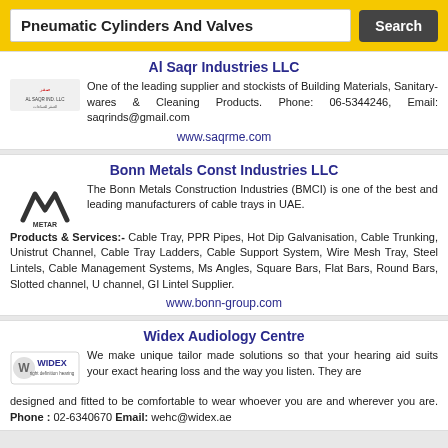Pneumatic Cylinders And Valves | Search
Al Saqr Industries LLC
One of the leading supplier and stockists of Building Materials, Sanitary-wares & Cleaning Products. Phone: 06-5344246, Email: saqrinds@gmail.com
www.saqrme.com
Bonn Metals Const Industries LLC
The Bonn Metals Construction Industries (BMCI) is one of the best and leading manufacturers of cable trays in UAE. Products & Services:- Cable Tray, PPR Pipes, Hot Dip Galvanisation, Cable Trunking, Unistrut Channel, Cable Tray Ladders, Cable Support System, Wire Mesh Tray, Steel Lintels, Cable Management Systems, Ms Angles, Square Bars, Flat Bars, Round Bars, Slotted channel, U channel, GI Lintel Supplier.
www.bonn-group.com
Widex Audiology Centre
We make unique tailor made solutions so that your hearing aid suits your exact hearing loss and the way you listen. They are designed and fitted to be comfortable to wear whoever you are and wherever you are. Phone : 02-6340670 Email: wehc@widex.ae